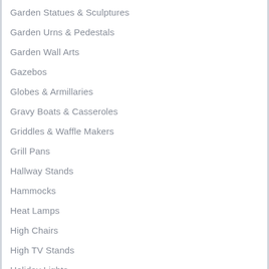Garden Statues & Sculptures
Garden Urns & Pedestals
Garden Wall Arts
Gazebos
Globes & Armillaries
Gravy Boats & Casseroles
Griddles & Waffle Makers
Grill Pans
Hallway Stands
Hammocks
Heat Lamps
High Chairs
High TV Stands
Holiday Lights
Homeware